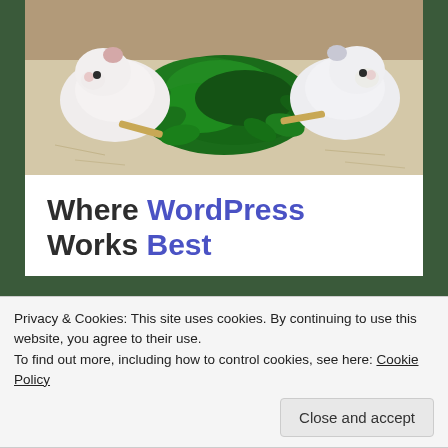[Figure (photo): Two white guinea pigs eating green spinach leaves spread on a white surface]
Where WordPress Works Best
Privacy & Cookies: This site uses cookies. By continuing to use this website, you agree to their use.
To find out more, including how to control cookies, see here: Cookie Policy
Close and accept